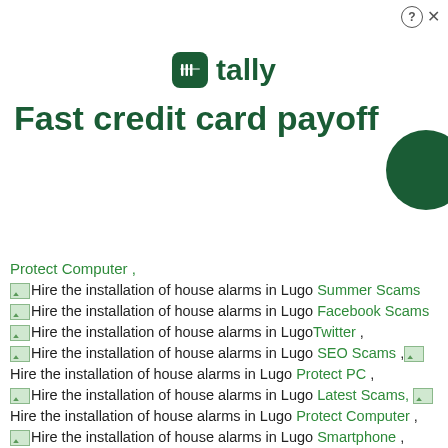[Figure (logo): Tally app logo with green icon and text 'tally']
Fast credit card payoff
Protect Computer , [img]Hire the installation of house alarms in Lugo Summer Scams [img]Hire the installation of house alarms in Lugo Facebook Scams [img]Hire the installation of house alarms in Lugo Twitter , [img]Hire the installation of house alarms in Lugo SEO Scams ,[img]Hire the installation of house alarms in Lugo Protect PC , [img]Hire the installation of house alarms in Lugo Latest Scams, [img]Hire the installation of house alarms in Lugo Protect Computer , [img]Hire the installation of house alarms in Lugo Smartphone , [img]Hire the installation of house alarms in Lugo Facebook Addiction ,[img]Hire the installation of house alarms in Lugo Internet Additions , [img]Hire the installation of house alarms in Lugo SMS Scams ,[img]Hire the installation of house alarms in Lugo Firma Electronica , Stalkerware telefonos celulares